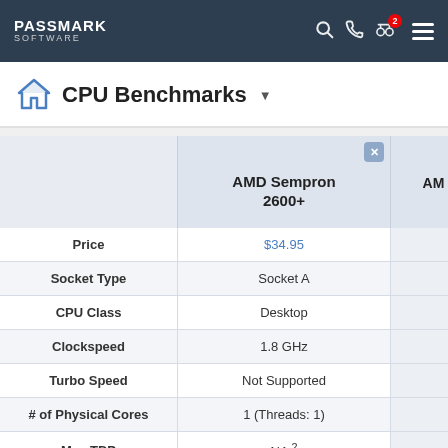PassMark Software
CPU Benchmarks
|  | AMD Sempron 2600+ | AM... |
| --- | --- | --- |
| Price | $34.95 |  |
| Socket Type | Socket A |  |
| CPU Class | Desktop |  |
| Clockspeed | 1.8 GHz |  |
| Turbo Speed | Not Supported |  |
| # of Physical Cores | 1 (Threads: 1) |  |
| Max TDP | NA 2 |  |